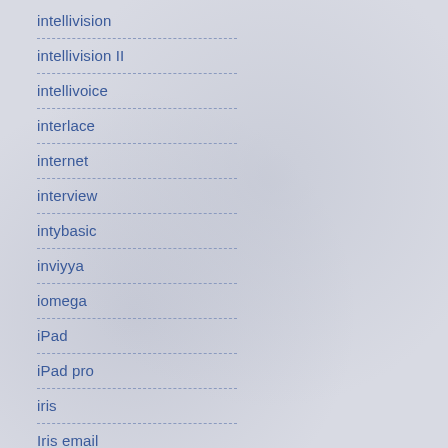intellivision
intellivision II
intellivoice
interlace
internet
interview
intybasic
inviyya
iomega
iPad
iPad pro
iris
Iris email
IRIX
itch.io
iview
jack attack
jaguar
jam it